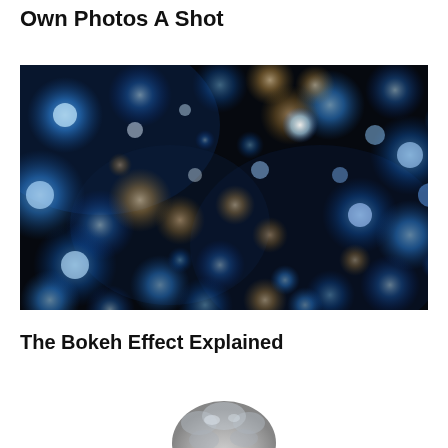Own Photos A Shot
[Figure (photo): Bokeh effect photograph showing out-of-focus blue and amber/gold circular light orbs (bokeh balls) against a dark background, creating a dreamy abstract pattern of glowing circles]
The Bokeh Effect Explained
[Figure (photo): Partially visible image at the bottom of the page showing a fluffy gray/silver round object, likely a lens accessory or fuzzy ball, on a white background]